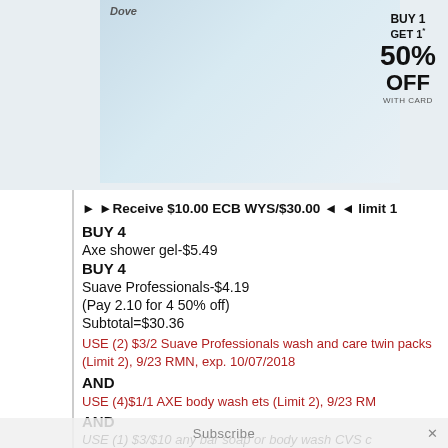[Figure (photo): Product photo showing Dove and Axe body wash/shampoo bottles with BUY 1 GET 1* 50% OFF WITH CARD promotional badge]
► ►Receive $10.00 ECB WYS/$30.00 ◄ ◄ limit 1
BUY 4
Axe shower gel-$5.49
BUY 4
Suave Professionals-$4.19
(Pay 2.10 for 4 50% off)
Subtotal=$30.36
USE (2) $3/2 Suave Professionals wash and care twin packs (Limit 2), 9/23 RMN, exp. 10/07/2018
AND
USE (4)$1/1 AXE body wash ets (Limit 2), 9/23 RMN
AND
USE (1) $3/$10 any bar soap or body wash CVS c...